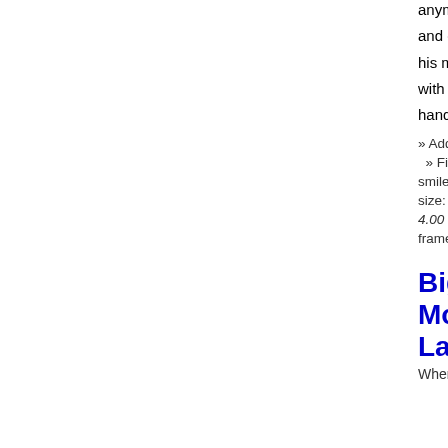anymore and covers his mouth with his hands!
» Added on 06 September, 2012 » Filename: toothless-chuckle-smiley-emoticon.gif » File size: 11578 bytes » Rated 4.00 from 19 votes » 31 frames measuring 25 x 31 pixels
Big Mouth Laughing
[Figure (illustration): Emoticon/smiley face with big open mouth laughing, cartoon style with teeth visible]
Where